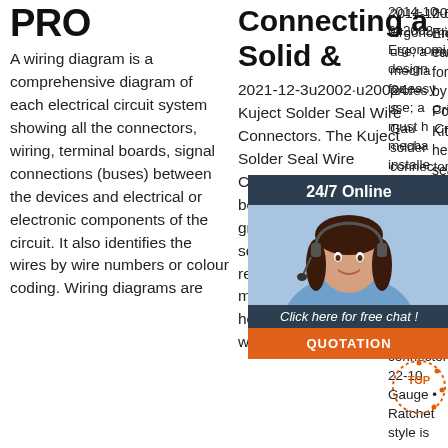PRO
A wiring diagram is a comprehensive diagram of each electrical circuit system showing all the connectors, wiring, terminal boards, signal connections (buses) between the devices and electrical or electronic components of the circuit. It also identifies the wires by wire numbers or colour coding. Wiring diagrams are
Connecting a Solid &
2021-12-3u2002·u20024. Kuject Solder Seal Wire Connectors. The Kuject Solder Seal Wire Connectors has always been an excellent marine-grade product. It has a solder ring that provides a reliable connection once melted. Simultaneously, the hot melt adhesive will give a waterproof finish
2014-10-6u2002·u2002• Ergonomic design for easy use; a must have for mechanics or installers. For professional use only. 6519 Pc. Heat Shrink Crimping Kit, 10 Gauge Crimps, heat shrink tubing, solder seal terminals & connectors 22-10 Gauge • Ratchet style is easy to use and provides a ...
[Figure (other): Customer service chat widget showing a woman with headset, '24/7 Online' header, 'Click here for free chat!' text, and orange QUOTATION button]
[Figure (logo): TOP badge/watermark in orange dotted circle style]